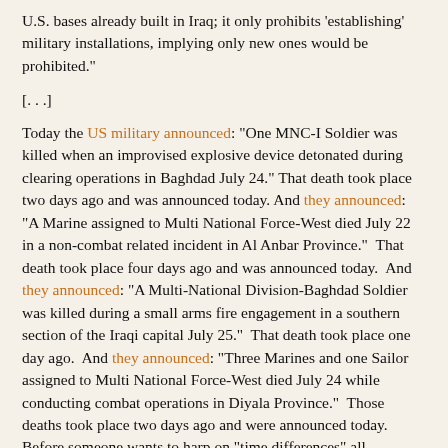U.S. bases already built in Iraq; it only prohibits 'establishing' military installations, implying only new ones would be prohibited."
[. . .]
Today the US military announced: "One MNC-I Soldier was killed when an improvised explosive device detonated during clearing operations in Baghdad July 24." That death took place two days ago and was announced today. And they announced: "A Marine assigned to Multi National Force-West died July 22 in a non-combat related incident in Al Anbar Province."  That death took place four days ago and was announced today.  And they announced: "A Multi-National Division-Baghdad Soldier was killed during a small arms fire engagement in a southern section of the Iraqi capital July 25."  That death took place one day ago.  And they announced: "Three Marines and one Sailor assigned to Multi National Force-West died July 24 while conducting combat operations in Diyala Province."  Those deaths took place two days ago and were announced today.  Before someone wants to harp on "time differences" all announcements are coming out of Baghdad.  Also note that this is seven deaths and not, as so many in the press